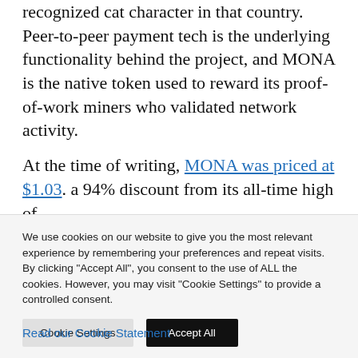Japan as the token logo is based on a widely recognized cat character in that country. Peer-to-peer payment tech is the underlying functionality behind the project, and MONA is the native token used to reward its proof-of-work miners who validated network activity.
At the time of writing, MONA was priced at $1.03. a 94% discount from its all-time high of
We use cookies on our website to give you the most relevant experience by remembering your preferences and repeat visits. By clicking "Accept All", you consent to the use of ALL the cookies. However, you may visit "Cookie Settings" to provide a controlled consent.
Read our Cookie Statement